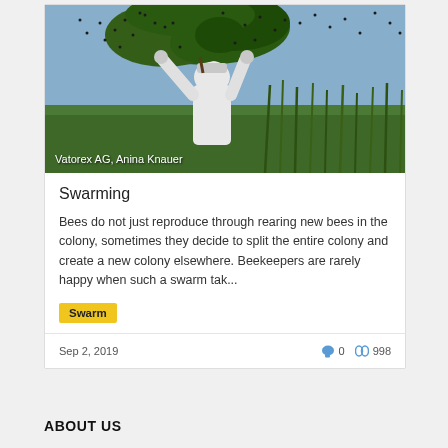[Figure (photo): A beekeeper in white protective suit holding up a tree branch covered in bees swarming, with green grass in background and bees flying in the air]
Vatorex AG, Anina Knauer
Swarming
Bees do not just reproduce through rearing new bees in the colony, sometimes they decide to split the entire colony and create a new colony elsewhere. Beekeepers are rarely happy when such a swarm tak...
Swarm
Sep 2, 2019
0
998
ABOUT US